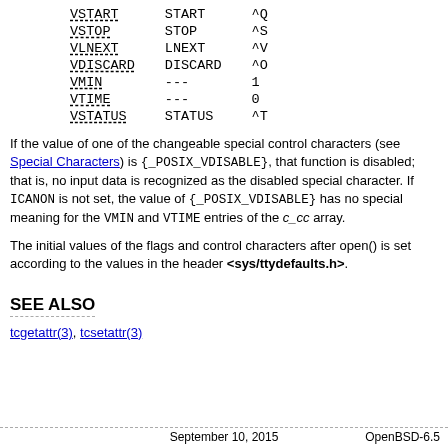| Name | Function | Default |
| --- | --- | --- |
| VSTART | START | ^Q |
| VSTOP | STOP | ^S |
| VLNEXT | LNEXT | ^V |
| VDISCARD | DISCARD | ^O |
| VMIN | --- | 1 |
| VTIME | --- | 0 |
| VSTATUS | STATUS | ^T |
If the value of one of the changeable special control characters (see Special Characters) is {_POSIX_VDISABLE}, that function is disabled; that is, no input data is recognized as the disabled special character. If ICANON is not set, the value of {_POSIX_VDISABLE} has no special meaning for the VMIN and VTIME entries of the c_cc array.
The initial values of the flags and control characters after open() is set according to the values in the header <sys/ttydefaults.h>.
SEE ALSO
tcgetattr(3), tcsetattr(3)
September 10, 2015                                    OpenBSD-6.5